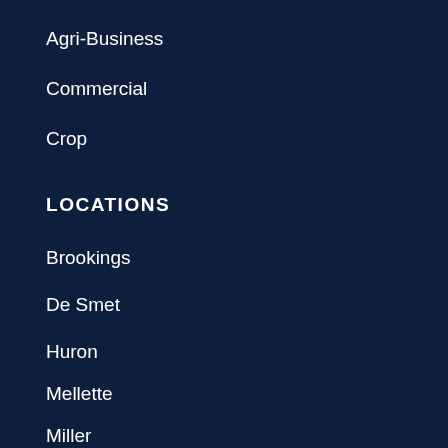Agri-Business
Commercial
Crop
LOCATIONS
Brookings
De Smet
Huron
Mellette
Miller
Pierre
Sioux Falls
Watertown